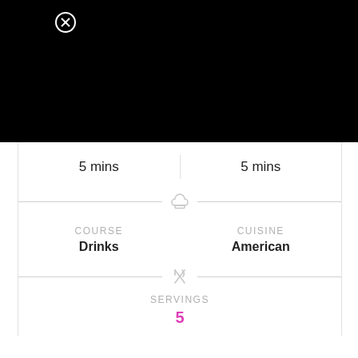[Figure (other): Black image/photo area at top of page with close (X) button overlay]
5 mins
5 mins
COURSE
Drinks
CUISINE
American
SERVINGS
5